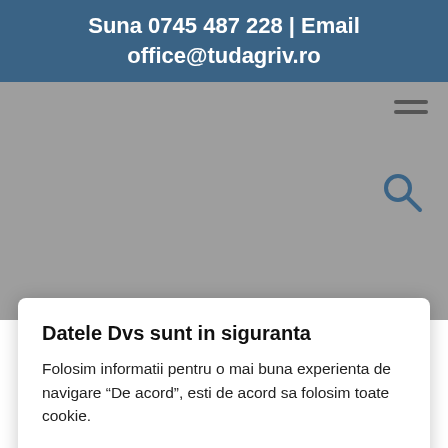Suna 0745 487 228 | Email office@tudagriv.ro
[Figure (screenshot): Gray navigation bar area with hamburger menu icon and search icon]
Datele Dvs sunt in siguranta
Folosim informatii pentru o mai buna experienta de navigare “De acord”, esti de acord sa folosim toate cookie.
Setari cookie | De acord
CONTACT
Tel1: 0745 487 228
Tel2: 0724 27 21 03